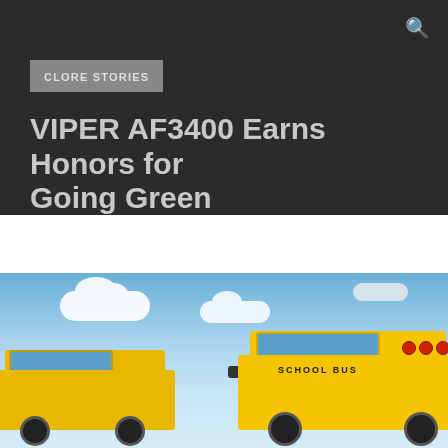CLORE STORIES
VIPER AF3400 Earns Honors for Going Green
[Figure (photo): Yellow school buses parked under a partly cloudy blue sky, viewed from a low angle showing the fronts of the buses with 'SCHOOL BUS' text visible on one of them.]